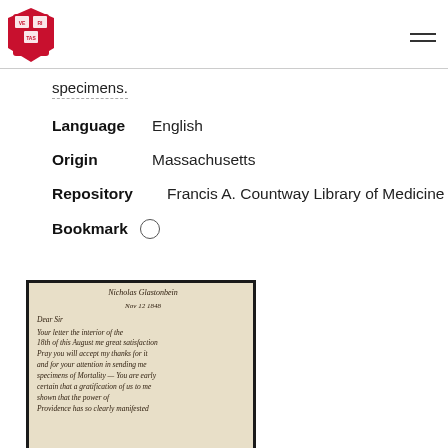Harvard University logo and navigation menu
specimens.
Language   English
Origin   Massachusetts
Repository   Francis A. Countway Library of Medicine
Bookmark  ○
[Figure (photo): A photograph of a handwritten historical letter or manuscript on aged paper with cursive script, enclosed in a dark frame.]